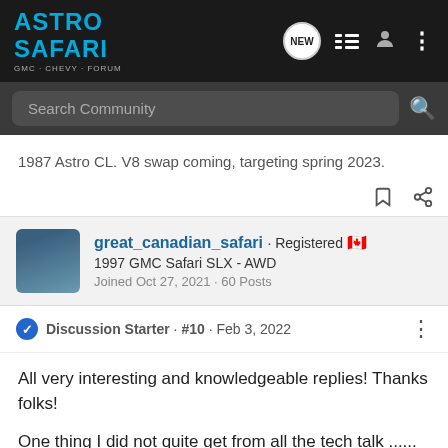Astro Safari - Search Community
1987 Astro CL. V8 swap coming, targeting spring 2023.
great_canadian_safari · Registered
1997 GMC Safari SLX - AWD
Joined Oct 27, 2021 · 60 Posts
Discussion Starter · #10 · Feb 3, 2022
All very interesting and knowledgeable replies! Thanks folks!
One thing I did not quite get from all the tech talk ...... and forgive me if it all went over my head a bit, but a stock 4.3 in my van.... that would NOT benefit from a full 3" exhaust right? A